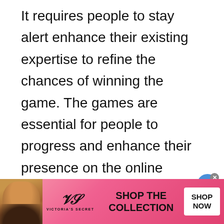It requires people to stay alert enhance their existing expertise to refine the chances of winning the game. The games are essential for people to progress and enhance their presence on the online platform.
You can find several free and paid versio[n of the] game to play solo or with a company around. It is one of the best game[s]
[Figure (other): UI overlay elements: heart/like button (blue circle), share button, view count badge showing '1', play button (pink circle outline), 'What's Next' widget with VS logo thumbnail]
[Figure (other): Victoria's Secret advertisement banner with model, VS logo, 'SHOP THE COLLECTION' text, and 'SHOP NOW' button]